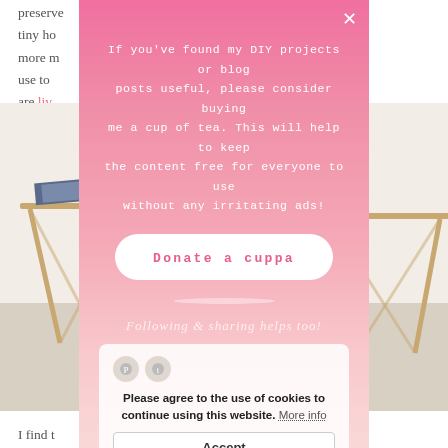preserve ... side tiny ho ... ving more m ... they use to ... they are liv...
[Figure (photo): Background photo of a room with wooden furniture (side table with crossed legs), white surface, on a light background. Partially visible behind modal overlay.]
If you've found my DIY projects or blog posts useful, please consider buying me a cup of tea. This will help to keep the content free for everyone to use without any irritating ads!
Donate a cuppa
[Figure (photo): Circular cropped photo of a cup of tea with biscuits on a saucer, on a white surface, outdoors with green background.]
Following & sharing helps too!
Please agree to the use of cookies to continue using this website. More info
Accept
I find t... want